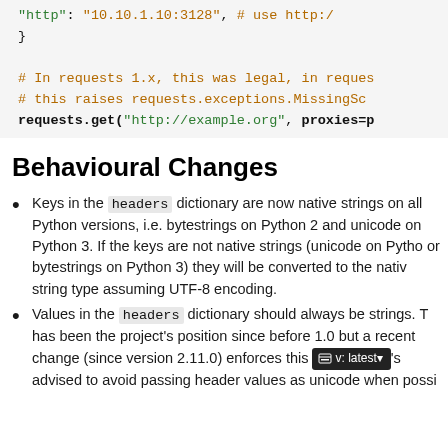[Figure (screenshot): Code block showing Python proxy configuration with 'http' key set to '10.10.1.10:3128', a closing brace, comment lines about requests 1.x and MissingSchema exception, and a requests.get() call with proxies parameter.]
Behavioural Changes
Keys in the headers dictionary are now native strings on all Python versions, i.e. bytestrings on Python 2 and unicode on Python 3. If the keys are not native strings (unicode on Python 2 or bytestrings on Python 3) they will be converted to the native string type assuming UTF-8 encoding.
Values in the headers dictionary should always be strings. This has been the project's position since before 1.0 but a recent change (since version 2.11.0) enforces this more strictly. You're advised to avoid passing header values as unicode when possible.